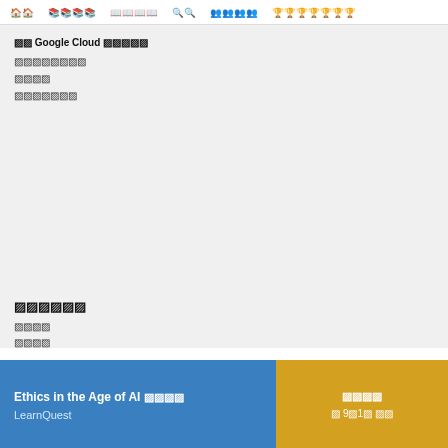홈   나의학습   카탈로그   검색   커뮤니티   자격증취득
에 Google Cloud 전문화과정 참여하기
전문화과정소개
강의목록
리뷰읽기
관련강의
강의명
강의명
Ethics in the Age of AI 전문화
LearnQuest
무료등록  약 9주1일  완료